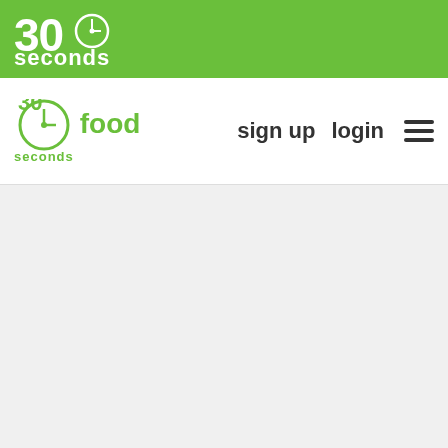30 seconds - green banner logo
[Figure (logo): 30seconds food website navigation bar with logo, sign up, login, and hamburger menu]
[Figure (screenshot): Light grey empty content area below navigation]